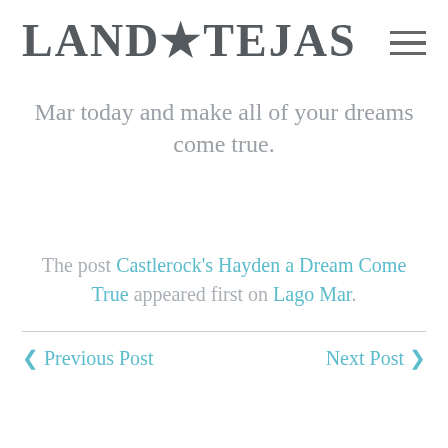LAND★TEJAS
Mar today and make all of your dreams come true.
The post Castlerock's Hayden a Dream Come True appeared first on Lago Mar.
Previous Post
Next Post